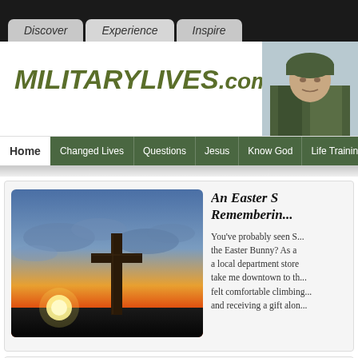Discover | Experience | Inspire
MILITARYLIVES.com
Home | Changed Lives | Questions | Jesus | Know God | Life Training | Relat...
[Figure (photo): A wooden cross silhouetted against a dramatic orange and blue sunset sky with clouds]
An Easter Story: Remembering...
You've probably seen Santa Claus, but have you seen the Easter Bunny? As a child, I remember going to a local department store where my mother would take me downtown to the Easter display. I felt comfortable climbing on his lap and receiving a gift alon...